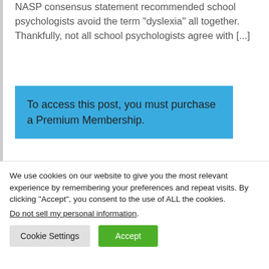NASP consensus statement recommended school psychologists avoid the term “dyslexia” all together. Thankfully, not all school psychologists agree with [...]
To access this post, you must purchase a Premium Membership.
We use cookies on our website to give you the most relevant experience by remembering your preferences and repeat visits. By clicking “Accept”, you consent to the use of ALL the cookies.
Do not sell my personal information.